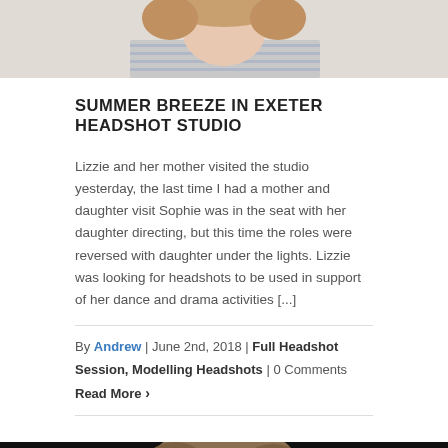[Figure (photo): Partial photo of a person (top of head/shoulders visible), light background, cut off at top of page]
SUMMER BREEZE IN EXETER HEADSHOT STUDIO
Lizzie and her mother visited the studio yesterday, the last time I had a mother and daughter visit Sophie was in the seat with her daughter directing, but this time the roles were reversed with daughter under the lights. Lizzie was looking for headshots to be used in support of her dance and drama activities [...]
By Andrew | June 2nd, 2018 | Full Headshot Session, Modelling Headshots | 0 Comments
Read More ›
[Figure (photo): Partial photo of a person with light brown hair against a dark/black background, showing head and upper body, cut off at bottom of page]